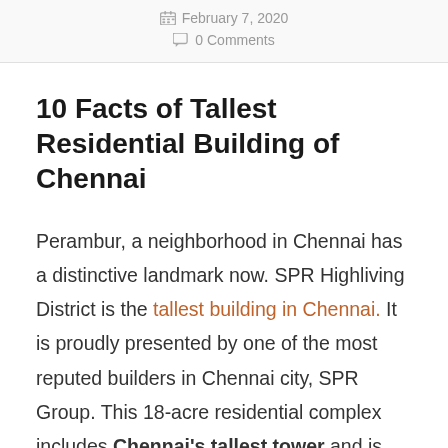February 7, 2020 · 0 Comments
10 Facts of Tallest Residential Building of Chennai
Perambur, a neighborhood in Chennai has a distinctive landmark now. SPR Highliving District is the tallest building in Chennai. It is proudly presented by one of the most reputed builders in Chennai city, SPR Group. This 18-acre residential complex includes Chennai's tallest tower and is